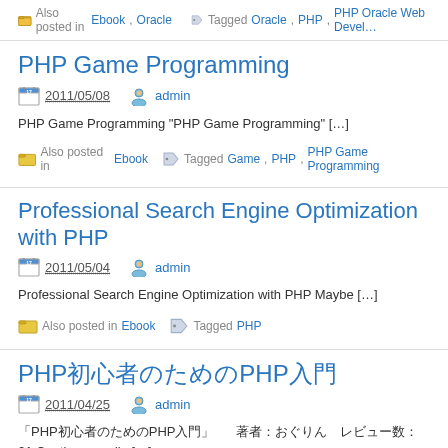Also posted in Ebook, Oracle   Tagged Oracle, PHP, PHP Oracle Web Devel…
PHP Game Programming
2011/05/08   admin
PHP Game Programming "PHP Game Programming" […]
Also posted in Ebook   Tagged Game, PHP, PHP Game Programming
Professional Search Engine Optimization with PHP
2011/05/04   admin
Professional Search Engine Optimization with PHP Maybe […]
Also posted in Ebook   Tagged PHP
PHP初心者のためのPHP入門
2011/04/25   admin
「PHP初心者のためのPHP入門」 著者：おぐりん　レビュー数：21 Continue readin […]
Also posted in Ebook   Tagged PHP, PHP初心者のための入門, 初心者, 入門